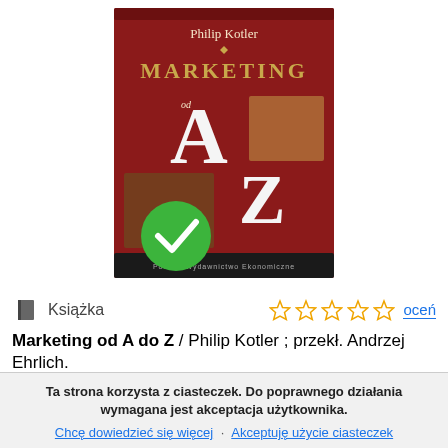[Figure (photo): Book cover of 'Marketing od A do Z' by Philip Kotler, red cover with large letters A and Z, published by Polskie Wydawnictwo Ekonomiczne. Green checkmark badge overlaid on lower-left of cover.]
Książka
oceń
Marketing od A do Z / Philip Kotler ; przekł. Andrzej Ehrlich.
Warszawa : Polskie Wydaw. Ekonomiczne, 2004. - 224, [2] s. ; 21 cm.
Temat: Marketing - podręcznik akademicki
Ta strona korzysta z ciasteczek. Do poprawnego działania wymagana jest akceptacja użytkownika.
Chcę dowiedzieć się więcej · Akceptuję użycie ciasteczek